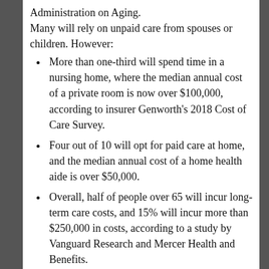Administration on Aging. Many will rely on unpaid care from spouses or children. However:
More than one-third will spend time in a nursing home, where the median annual cost of a private room is now over $100,000, according to insurer Genworth’s 2018 Cost of Care Survey.
Four out of 10 will opt for paid care at home, and the median annual cost of a home health aide is over $50,000.
Overall, half of people over 65 will incur long-term care costs, and 15% will incur more than $250,000 in costs, according to a study by Vanguard Research and Mercer Health and Benefits.
Medicare won’t help